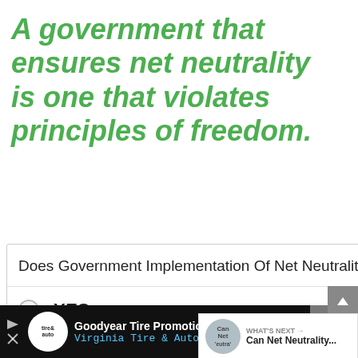A government that ensures net neutrality is one that violates principles of freedom.
Does Government Implementation Of Net Neutrality Violate Principles Of Freedom?
YES
NO
[Figure (screenshot): Floating UI buttons: scroll-to-top arrow, teal heart/favorite button, share button]
[Figure (screenshot): What's Next panel showing Can Net Neutrality thumbnail and title]
WHAT'S NEXT → Can Net Neutrality...
Goodyear Tire Promotion Virginia Tire & Auto of Ashburn